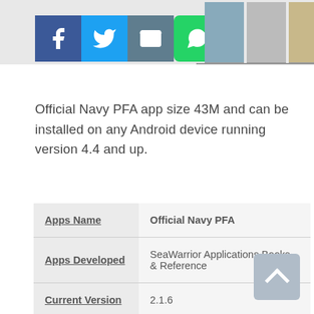[Figure (screenshot): Social media share buttons (Facebook, Twitter, Email, WhatsApp) and app screenshots at top of page]
Official Navy PFA app size 43M and can be installed on any Android device running version 4.4 and up.
| Apps Name | Official Navy PFA |
| --- | --- |
| Apps Developed | SeaWarrior Applications Books & Reference |
| Current Version | 2.1.6 |
| Total Installs | 500+ |